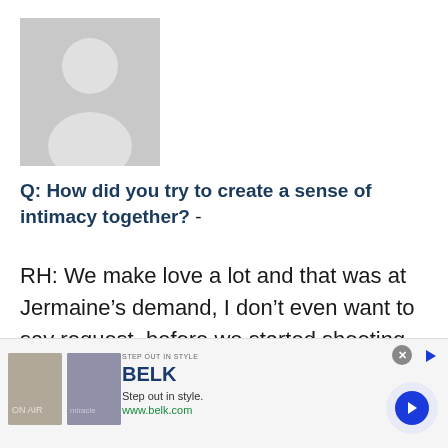[Figure (illustration): Generic grey placeholder avatar icon showing a silhouette of a person (head and shoulders) on a grey background]
Q: How did you try to create a sense of intimacy together? -
RH: We make love a lot and that was at Jermaine’s demand, I don’t even want to say request, before we started shooting.
[Figure (infographic): Advertisement banner for Belk department store. Shows 'STEP OUT IN STYLE' text, BELK brand name in navy, tagline 'Step out in style.', URL www.belk.com, two thumbnail product images, close button (x), and a forward navigation arrow button.]